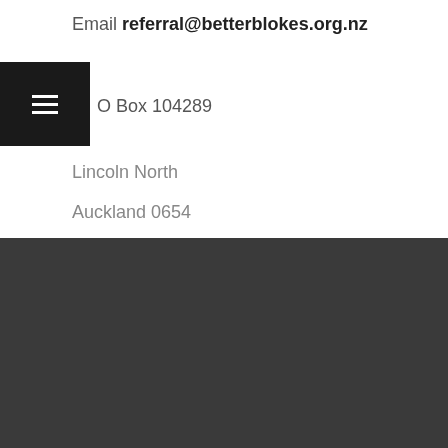Email referral@betterblokes.org.nz
O Box 104289
Lincoln North
Auckland 0654
Better Blokes
56 Surrey Crescent
Grey Lynn, Auckland 1021
0800 448 484
referral@betterblokes.org.nz